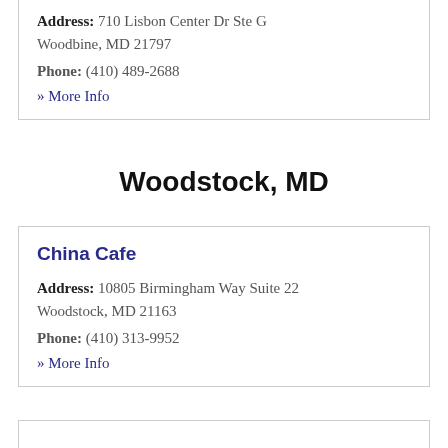Address: 710 Lisbon Center Dr Ste G Woodbine, MD 21797
Phone: (410) 489-2688
» More Info
Woodstock, MD
China Cafe
Address: 10805 Birmingham Way Suite 22 Woodstock, MD 21163
Phone: (410) 313-9952
» More Info